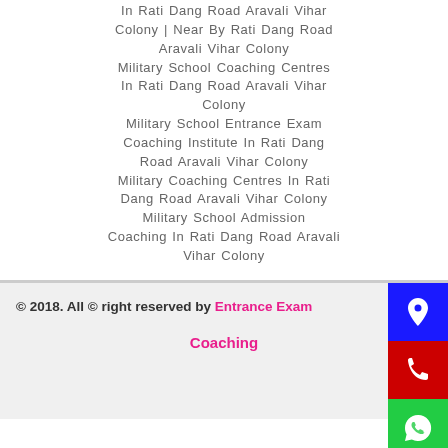In Rati Dang Road Aravali Vihar Colony | Near By Rati Dang Road Aravali Vihar Colony Military School Coaching Centres In Rati Dang Road Aravali Vihar Colony Military School Entrance Exam Coaching Institute In Rati Dang Road Aravali Vihar Colony Military Coaching Centres In Rati Dang Road Aravali Vihar Colony Military School Admission Coaching In Rati Dang Road Aravali Vihar Colony
© 2018. All © right reserved by Entrance Exam Coaching